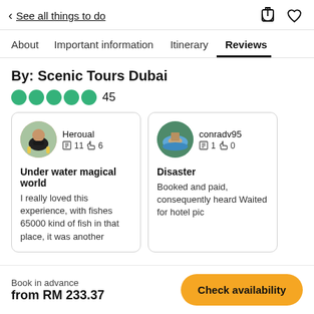< See all things to do
About  Important information  Itinerary  Reviews
By: Scenic Tours Dubai
●●●●●  45
Heroual
✎ 11  👍 6
Under water magical world
I really loved this experience, with fishes 65000 kind of fish in that place, it was another
conradv95
✎ 1  👍 0
Disaster
Booked and paid, consequently heard Waited for hotel pic
Book in advance
from RM 233.37
Check availability